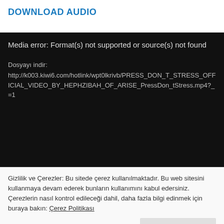DOWNLOAD AUDIO
[Figure (screenshot): Media error box with dark background showing: 'Media error: Format(s) not supported or source(s) not found' and a file download link URL.]
Gizlilik ve Çerezler: Bu sitede çerez kullanılmaktadır. Bu web sitesini kullanmaya devam ederek bunların kullanımını kabul edersiniz. Çerezlerin nasıl kontrol edileceği dahil, daha fazla bilgi edinmek için buraya bakın: Çerez Politikası
Kapat ve kabul et
OFFICIAL DEBUT VIDEO: